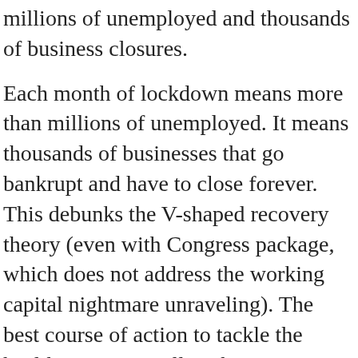millions of unemployed and thousands of business closures.
Each month of lockdown means more than millions of unemployed. It means thousands of businesses that go bankrupt and have to close forever. This debunks the V-shaped recovery theory (even with Congress package, which does not address the working capital nightmare unraveling). The best course of action to tackle the health crisis, as well as the economic collapse risk, is to follow the South Korea and Singapore strategy. This is not a spending crisis, but a test and prevention crisis.
The healthcare crisis has to be tackled from three angles: prevention, testing and ensuring that treatment and vaccines will be widely available when ready. If governments fall prey to panic and destroy the economic fabric of the country they will add poverty, misery, and bankruptcy to the fatalities of the epidemic, thus creating a larger, longer-lasting social and health